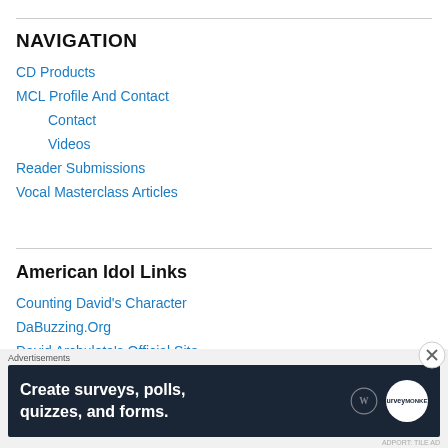NAVIGATION
CD Products
MCL Profile And Contact
Contact
Videos
Reader Submissions
Vocal Masterclass Articles
American Idol Links
Counting David's Character
DaBuzzing.Org
David Archuleta's Official Site
[Figure (screenshot): Advertisement banner: 'Create surveys, polls, quizzes, and forms.' with WordPress and SurveyMonkey logos on dark navy background]